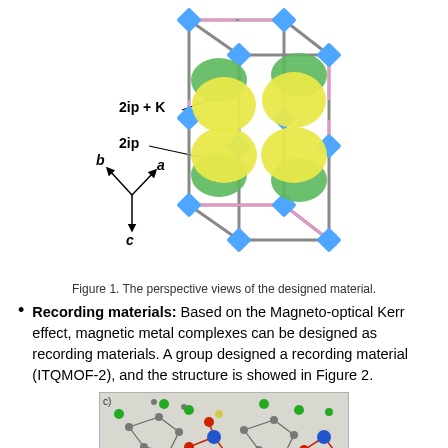[Figure (illustration): 3D perspective view of a crystal structure (designed material) showing a cage-like framework with blue square nodes, pink and grey rods, and green/yellow spheres inside. Labels: '2ip + K', '2ip', with crystallographic axes b, a, c shown.]
Figure 1. The perspective views of the designed material.
Recording materials: Based on the Magneto-optical Kerr effect, magnetic metal complexes can be designed as recording materials. A group designed a recording material (ITQMOF-2), and the structure is showed in Figure 2.
[Figure (illustration): Crystal structure diagram (panel c) of ITQMOF-2 recording material showing molecular framework with green, grey, red, blue, and yellow atoms connected by bonds.]